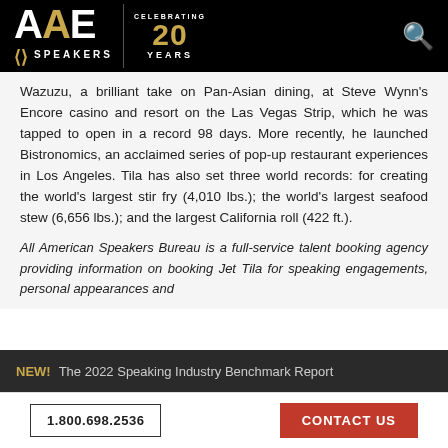AAE SPEAKERS — Celebrating 20 Years
Wazuzu, a brilliant take on Pan-Asian dining, at Steve Wynn's Encore casino and resort on the Las Vegas Strip, which he was tapped to open in a record 98 days. More recently, he launched Bistronomics, an acclaimed series of pop-up restaurant experiences in Los Angeles. Tila has also set three world records: for creating the world's largest stir fry (4,010 lbs.); the world's largest seafood stew (6,656 lbs.); and the largest California roll (422 ft.).
All American Speakers Bureau is a full-service talent booking agency providing information on booking Jet Tila for speaking engagements, personal appearances and
NEW! The 2022 Speaking Industry Benchmark Report
1.800.698.2536   CONTACT US